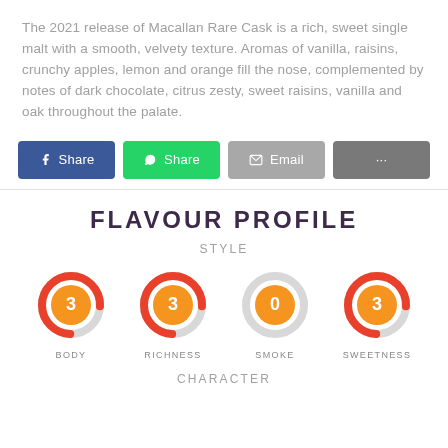The 2021 release of Macallan Rare Cask is a rich, sweet single malt with a smooth, velvety texture. Aromas of vanilla, raisins, crunchy apples, lemon and orange fill the nose, complemented by notes of dark chocolate, citrus zesty, sweet raisins, vanilla and oak throughout the palate.
[Figure (infographic): Social share buttons: Facebook Share, WhatsApp Share, Email, and More (...)]
FLAVOUR PROFILE
STYLE
[Figure (infographic): Four donut gauge charts showing flavour profile style: BODY=3, RICHNESS=3, SMOKE=0, SWEETNESS=3. Each has an orange center circle with the number and a partial red arc on a gray ring.]
CHARACTER